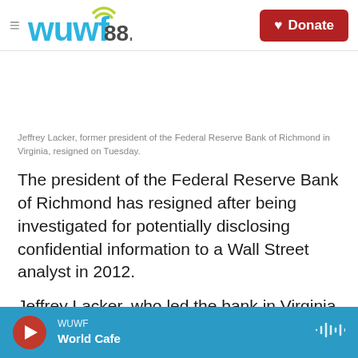WUWF 88.1 | Donate
Jeffrey Lacker, former president of the Federal Reserve Bank of Richmond in Virginia, resigned on Tuesday.
The president of the Federal Reserve Bank of Richmond has resigned after being investigated for potentially disclosing confidential information to a Wall Street analyst in 2012.
Jeffrey Lacker, who led the bank in Virginia for
WUWF World Cafe